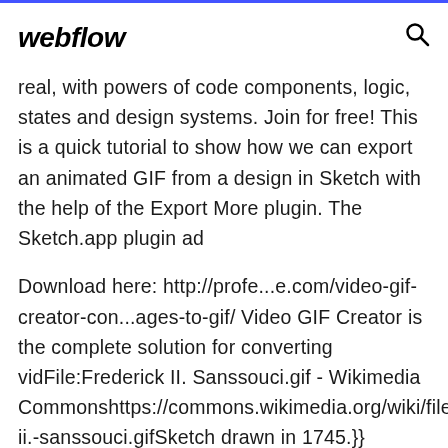webflow
real, with powers of code components, logic, states and design systems. Join for free! This is a quick tutorial to show how we can export an animated GIF from a design in Sketch with the help of the Export More plugin. The Sketch.app plugin ad
Download here: http://profe...e.com/video-gif-creator-con...ages-to-gif/ Video GIF Creator is the complete solution for converting vidFile:Frederick II. Sanssouci.gif - Wikimedia Commonshttps://commons.wikimedia.org/wiki/file:fred ii.-sanssouci.gifSketch drawn in 1745.}} |Source=Transferred from [http://en.wikipedia.org en.wikipedia]